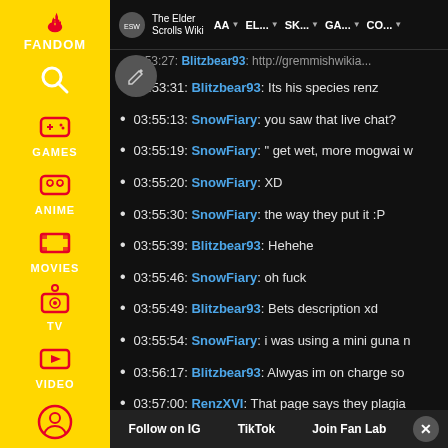[Figure (screenshot): Fandom wiki sidebar with yellow background showing navigation icons for Games, Anime, Movies, TV, Video sections with white icons and labels]
The Elder Scrolls Wiki | AA | EL... | SK... | GA... | CO...
03:53:27: Blitzbear93: http://gremmishwikia...
03:53:31: Blitzbear93: Its his species renz
03:55:13: SnowFiary: you saw that live chat?
03:55:19: SnowFiary: " get wet, more mogwai w
03:55:20: SnowFiary: XD
03:55:30: SnowFiary: the way they put it :P
03:55:39: Blitzbear93: Hehehe
03:55:46: SnowFiary: oh fuck
03:55:49: Blitzbear93: Bets description xd
03:55:54: SnowFiary: i was using a mini guna n
03:56:17: Blitzbear93: Alwyas im on charge so
03:57:00: RenzXVI: That page says they plagia
03:57:23: SnowFiary: i had a stuffy of that
03:57:26: RenzXVI: They just settled with paym
03:57:30: Blitzbear93: Knew it
03:57:43: Blitzbear93: I always said furries we
03:...
Follow on IG | TikTok | Join Fan Lab | X